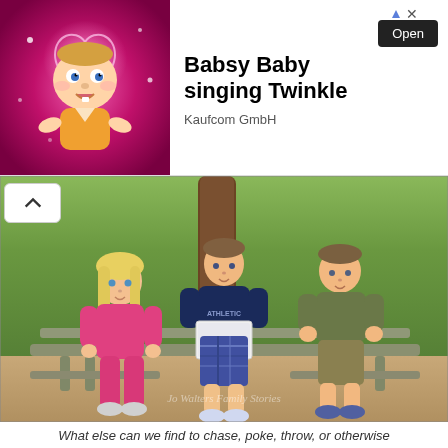[Figure (screenshot): Ad banner for 'Babsy Baby singing Twinkle' app by Kaufcom GmbH with animated baby character on pink/magenta background, bold title text, 'Open' button, and ad attribution arrows.]
[Figure (photo): Three children sitting and standing near a wooden park bench outdoors. A blonde girl in pink on the left, a boy in a navy 'ATHLETIC' shirt holding a paper in the center, and a boy in an olive green shirt on the right. Green grass and a tree trunk visible in background. Watermark text at bottom of photo.]
What else can we find to chase, poke, throw, or otherwise